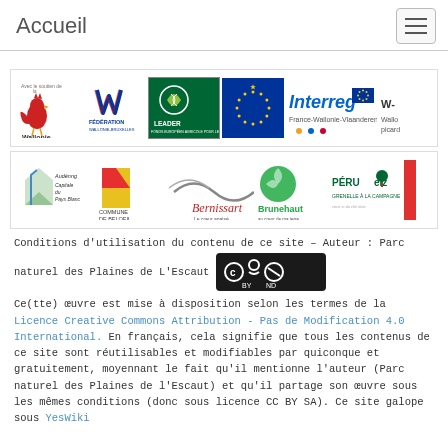Accueil
[Figure (logo): Row of partner logos: Wallonie (rooster), Fédération Wallonie-Bruxelles, LEADER EU agricultural fund, EU flag, Interreg France-Wallonie-Vlaanderen, EU flag small, Wallonie Picardie logo]
[Figure (logo): Row of local partner logos: Ath Audenog Capitale du Pays Blanc, Commune de Beloeil, Bernissart, Brunehaut, Péruwelz, and one more]
Conditions d'utilisation du contenu de ce site – Auteur : Parc naturel des Plaines de L'Escaut
[Figure (logo): Creative Commons BY-ND license badge]
Ce(tte) œuvre est mise à disposition selon les termes de la Licence Creative Commons Attribution - Pas de Modification 4.0 International. En français, cela signifie que tous les contenus de ce site sont réutilisables et modifiables par quiconque et gratuitement, moyennant le fait qu'il mentionne l'auteur (Parc naturel des Plaines de l'Escaut) et qu'il partage son œuvre sous les mêmes conditions (donc sous licence CC BY SA). Ce site galope sous YesWiki